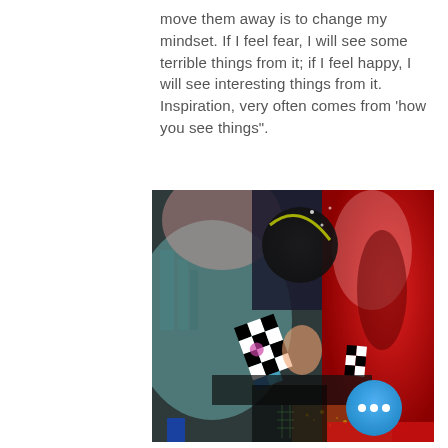move them away is to change my mindset. If I feel fear, I will see some terrible things from it; if I feel happy, I will see interesting things from it. Inspiration, very often comes from 'how you see things".
[Figure (illustration): Abstract mixed-media painting with dark charcoal and teal tones on the left side featuring a large dark circular shape (moon/moon-like), checkerboard patterned shapes in black and white with pink accents, and a vivid red section on the right with blurred human-like silhouettes. The lower portion has earthy textured areas. A blue circular button with three white dots (more options) is overlaid in the bottom-right corner.]